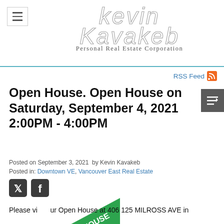Kevin Kavakeb Personal Real Estate Corporation
RSS Feed
Open House. Open House on Saturday, September 4, 2021 2:00PM - 4:00PM
Posted on September 3, 2021  by Kevin Kavakeb
Posted in: Downtown VE, Vancouver East Real Estate
[Figure (other): Open House ribbon badge in green]
Please visit our Open House at 406 125 MILROSS AVE in ...